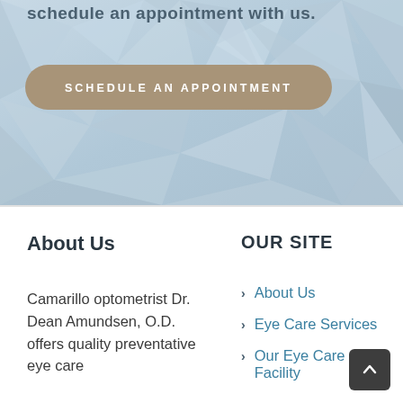[Figure (illustration): Light blue geometric low-poly background with text partially visible at top reading 'schedule an appointment with us.']
schedule an appointment with us.
SCHEDULE AN APPOINTMENT
About Us
OUR SITE
Camarillo optometrist Dr. Dean Amundsen, O.D. offers quality preventative eye care
About Us
Eye Care Services
Our Eye Care Facility